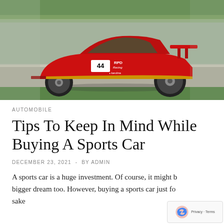[Figure (photo): Red Ferrari racing car #44 with RPD Racing livery speeding on a race track, motion blur in background]
AUTOMOBILE
Tips To Keep In Mind While Buying A Sports Car
DECEMBER 23, 2021  -  BY ADMIN
A sports car is a huge investment. Of course, it might b bigger dream too. However, buying a sports car just fo sake